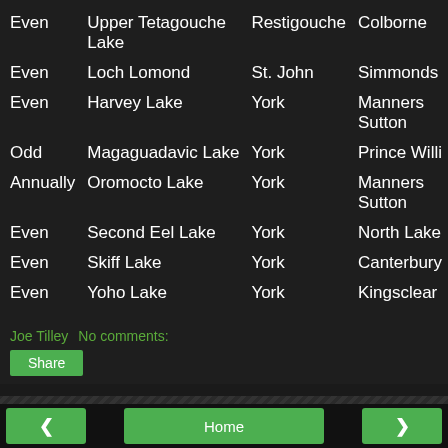| Frequency | Lake Name | County | Township |
| --- | --- | --- | --- |
| Even | Upper Tetagouche Lake | Restigouche | Colborne |
| Even | Loch Lomond | St. John | Simmonds |
| Even | Harvey Lake | York | Manners Sutton |
| Odd | Magaguadavic Lake | York | Prince Willi... |
| Annually | Oromocto Lake | York | Manners Sutton |
| Even | Second Eel Lake | York | North Lake |
| Even | Skiff Lake | York | Canterbury |
| Even | Yoho Lake | York | Kingsclear |
Joe Tilley    No comments:
Share
< Home > View web version Powered by Blogger.